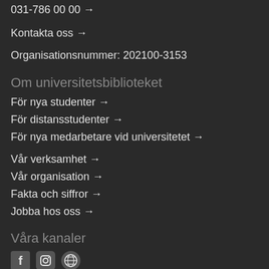031-786 00 00 →
Kontakta oss →
Organisationsnummer: 202100-3153
Om universitetsbiblioteket
För nya studenter →
För distansstudenter →
För nya medarbetare vid universitetet →
Vår verksamhet →
Vår organisation →
Fakta och siffror →
Jobba hos oss →
Våra kanaler
[Figure (other): Social media icons: Facebook, Instagram, WordPress]